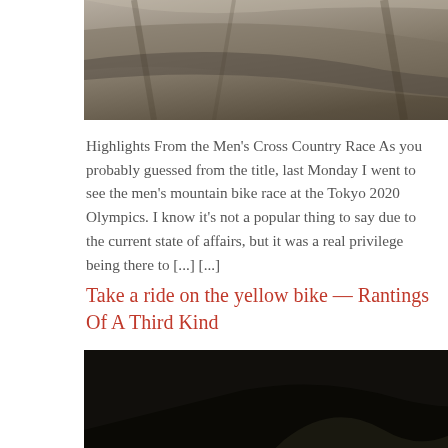[Figure (photo): Top portion of a mountain bike race track with soil/dirt texture, black and white tones]
Highlights From the Men's Cross Country Race As you probably guessed from the title, last Monday I went to see the men's mountain bike race at the Tokyo 2020 Olympics. I know it's not a popular thing to say due to the current state of affairs, but it was a real privilege being there to [...] [...]
Take a ride on the yellow bike  — Rantings Of A Third Kind
[Figure (photo): A large pile of yellow bicycles, densely packed together, showing handlebars, seats, frames and baskets of yellow city bikes]